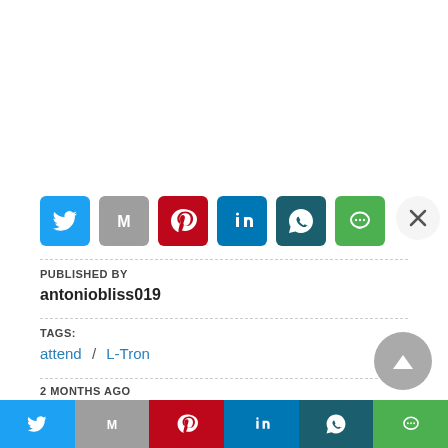[Figure (screenshot): Social media share icons row: Twitter (blue), Gmail (gray), Pinterest (red), LinkedIn (blue), WhatsApp (teal), LINE (green), with a close X button on the right]
PUBLISHED BY
antoniobliss019
TAGS:
attend / L-Tron
2 MONTHS AGO
RELATED POST
[Figure (screenshot): Bottom share bar with Twitter, Gmail, Pinterest, LinkedIn, WhatsApp, LINE icons]